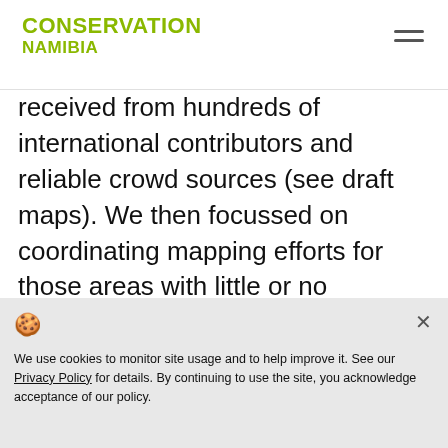CONSERVATION NAMIBIA
received from hundreds of international contributors and reliable crowd sources (see draft maps). We then focussed on coordinating mapping efforts for those areas with little or no information to fill the gaps in our current knowledge about where hyaenas occur. Under the guidance of Dr Stephanie Dloniak, the Hyaena Specialist Group's chairperson, the workshop team discussed important future research projects and the need for a new Threats Working Group to
We use cookies to monitor site usage and to help improve it. See our Privacy Policy for details. By continuing to use the site, you acknowledge acceptance of our policy.